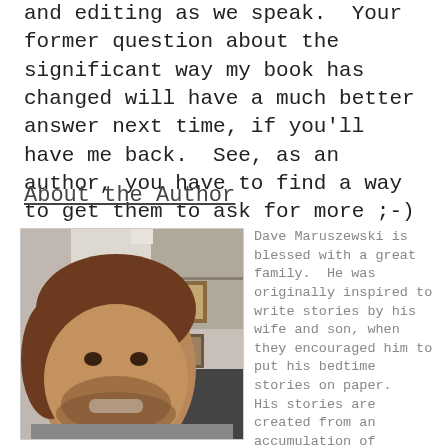and editing as we speak.  Your former question about the significant way my book has changed will have a much better answer next time, if you'll have me back.  See, as an author, you have to find a way to get them to ask for more ;-)
About the Author
[Figure (photo): Photo of Dave Maruszewski, a man with short brown hair and a beard, smiling, in an indoor setting with a bookshelf and framed pictures in the background.]
Dave Maruszewski is blessed with a great family.  He was originally inspired to write stories by his wife and son, when they encouraged him to put his bedtime stories on paper.
His stories are created from an accumulation of experiences from